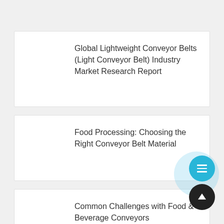Global Lightweight Conveyor Belts (Light Conveyor Belt) Industry Market Research Report
Food Processing: Choosing the Right Conveyor Belt Material
Common Challenges with Food & Beverage Conveyors